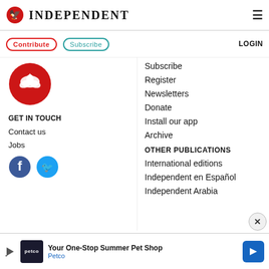INDEPENDENT
Contribute
Subscribe
LOGIN
[Figure (logo): The Independent eagle logo red circle]
GET IN TOUCH
Contact us
Jobs
[Figure (illustration): Facebook and Twitter social media icons]
Subscribe
Register
Newsletters
Donate
Install our app
Archive
OTHER PUBLICATIONS
International editions
Independent en Español
Independent Arabia
[Figure (infographic): Petco advertisement: Your One-Stop Summer Pet Shop]